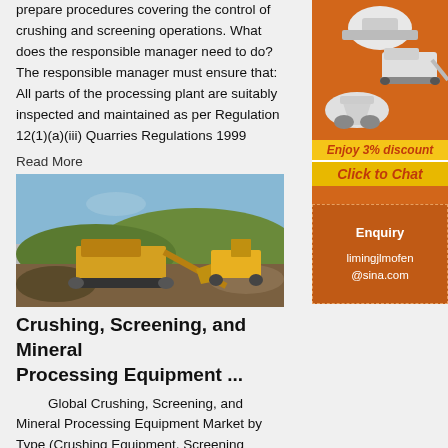prepare procedures covering the control of crushing and screening operations. What does the responsible manager need to do? The responsible manager must ensure that: All parts of the processing plant are suitably inspected and maintained as per Regulation 12(1)(a)(iii) Quarries Regulations 1999
Read More
[Figure (photo): Yellow mobile crushing and screening equipment operating at a quarry or mining site outdoors]
Crushing, Screening, and Mineral Processing Equipment ...
Global Crushing, Screening, and Mineral Processing Equipment Market by Type (Crushing Equipment, Screening Equipment, Mineral Processing Equipment) By Application (Construction Plant Modification, Mining, Foundries Smelters, Others) And By Region (North
[Figure (photo): Advertisement banner showing industrial crushing and mineral processing equipment on orange background with '3% discount' and 'Click to Chat' call to action]
Enquiry
limingjlmofen@sina.com